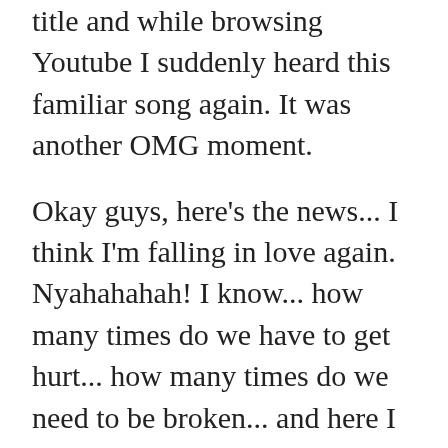title and while browsing Youtube I suddenly heard this familiar song again. It was another OMG moment.
Okay guys, here's the news... I think I'm falling in love again. Nyahahahah! I know... how many times do we have to get hurt... how many times do we need to be broken... and here I go again. Well I can't really do anything about it... I'm liking someone just by mere talking to her... how she